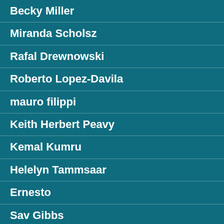Becky Miller
Miranda Scholsz
Rafal Drewnowski
Roberto Lopez-Davila
mauro filippi
Keith Herbert Peavy
Kemal Kumru
Helelyn Tammsaar
Ernesto
Sav Gibbs
Samantha Pinna
Soraia Taipa
nadim bellallahom
Anneke Hartmans